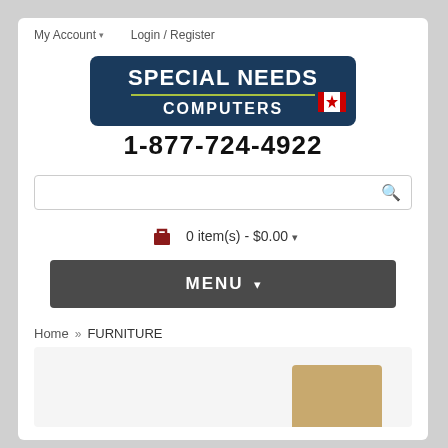My Account ▾   Login / Register
[Figure (logo): Special Needs Computers logo with dark blue background, 'SPECIAL NEEDS' in white bold caps, green horizontal line, 'COMPUTERS' in white, Canadian flag icon at bottom right, phone number 1-877-724-4922 in large black bold text below]
0 item(s) - $0.00 ▾
MENU ▾
Home » FURNITURE
[Figure (photo): Partial product image showing a tan/beige furniture item at bottom right of a light grey preview area]